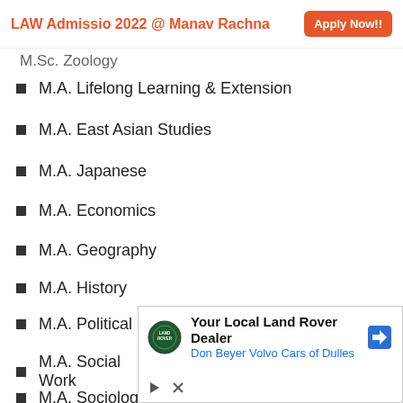LAW Admissio 2022 @ Manav Rachna  Apply Now!!
M.Sc. Zoology
M.A. Lifelong Learning & Extension
M.A. East Asian Studies
M.A. Japanese
M.A. Economics
M.A. Geography
M.A. History
M.A. Political Science
M.A. Social Work
M.A. Sociology
[Figure (infographic): Advertisement for Your Local Land Rover Dealer — Don Beyer Volvo Cars of Dulles]